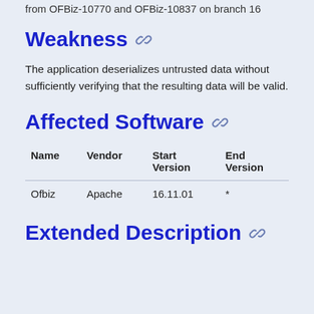from OFBiz-10770 and OFBiz-10837 on branch 16
Weakness
The application deserializes untrusted data without sufficiently verifying that the resulting data will be valid.
Affected Software
| Name | Vendor | Start Version | End Version |
| --- | --- | --- | --- |
| Ofbiz | Apache | 16.11.01 | * |
Extended Description